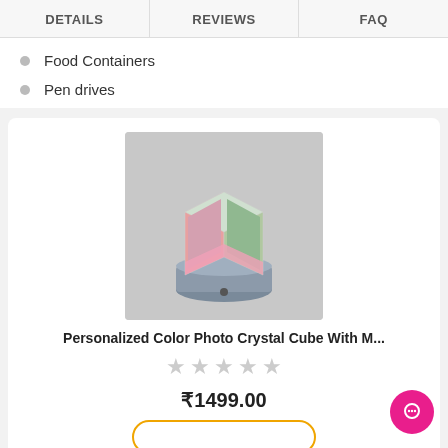DETAILS | REVIEWS | FAQ
Food Containers
Pen drives
[Figure (photo): Product photo of a Personalized Color Photo Crystal Cube on a round metallic base, showing printed photos on the cube faces, placed on a grey fabric background.]
Personalized Color Photo Crystal Cube With M...
★★★★★ (empty stars rating)
₹1499.00